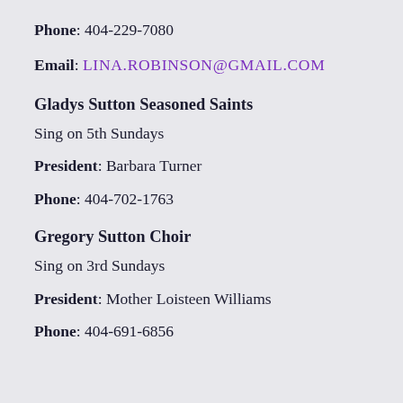Phone: 404-229-7080
Email: LINA.ROBINSON@GMAIL.COM
Gladys Sutton Seasoned Saints
Sing on 5th Sundays
President: Barbara Turner
Phone: 404-702-1763
Gregory Sutton Choir
Sing on 3rd Sundays
President: Mother Loisteen Williams
Phone: 404-691-6856